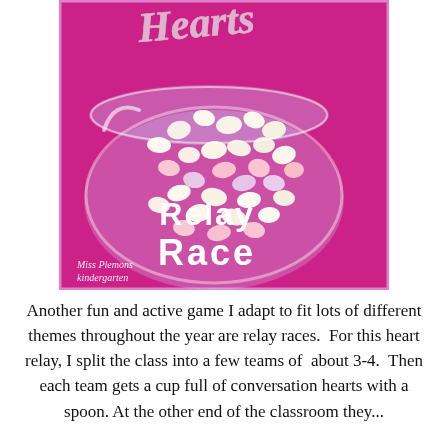[Figure (photo): Educational activity cover image showing a glass bowl filled with pastel candy conversation hearts on a pink/magenta background. Text overlay reads 'Hearts Relay Race' in stylized fonts. Bottom left shows 'Miss Plemons Kindergarten' branding.]
Another fun and active game I adapt to fit lots of different themes throughout the year are relay races.  For this heart relay, I split the class into a few teams of  about 3-4.  Then each team gets a cup full of conversation hearts with a spoon. At the other end of the classroom they...